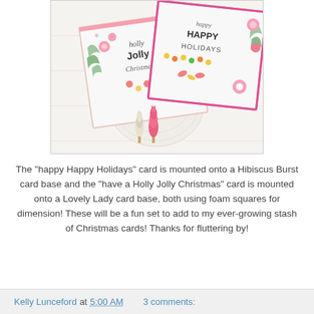[Figure (photo): Two handmade Christmas cards featuring holiday text ('Holly Jolly Christmas' and 'Happy Happy Holidays') with pink and green floral/pine decorations, candy, and bottlebrush trees on a white background with a crochet doily.]
The "happy Happy Holidays" card is mounted onto a Hibiscus Burst card base and the "have a Holly Jolly Christmas" card is mounted onto a Lovely Lady card base, both using foam squares for dimension! These will be a fun set to add to my ever-growing stash of Christmas cards! Thanks for fluttering by!
Kelly Lunceford at 5:00 AM    3 comments: